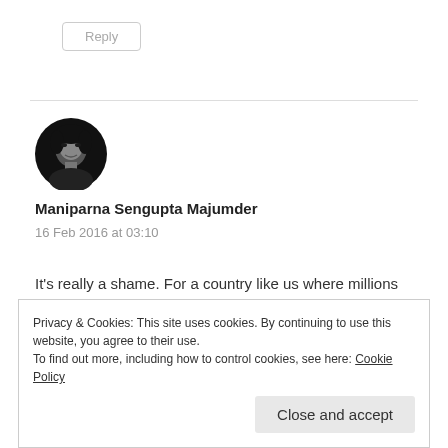Reply
[Figure (photo): Black and white circular avatar photo of a woman (Maniparna Sengupta Majumder)]
Maniparna Sengupta Majumder
16 Feb 2016 at 03:10
It's really a shame. For a country like us where millions of people live under the poverty line, this is suicidal...
Privacy & Cookies: This site uses cookies. By continuing to use this website, you agree to their use.
To find out more, including how to control cookies, see here: Cookie Policy
Close and accept